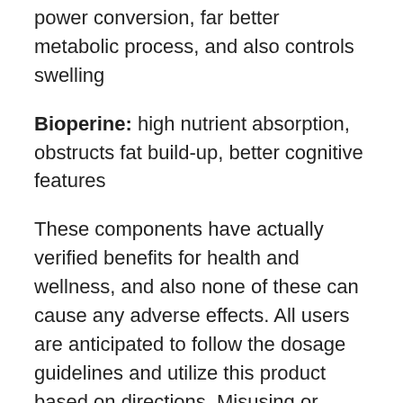power conversion, far better metabolic process, and also controls swelling
Bioperine: high nutrient absorption, obstructs fat build-up, better cognitive features
These components have actually verified benefits for health and wellness, and also none of these can cause any adverse effects. All users are anticipated to follow the dosage guidelines and utilize this product based on directions. Misusing or changing the dose is not advised.
Also Read: The Complete Record On Lean Belly Juice Controversy That Will Strike Your Mind